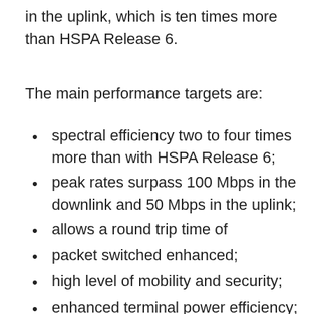in the uplink, which is ten times more than HSPA Release 6.
The main performance targets are:
spectral efficiency two to four times more than with HSPA Release 6;
peak rates surpass 100 Mbps in the downlink and 50 Mbps in the uplink;
allows a round trip time of
packet switched enhanced;
high level of mobility and security;
enhanced terminal power efficiency;